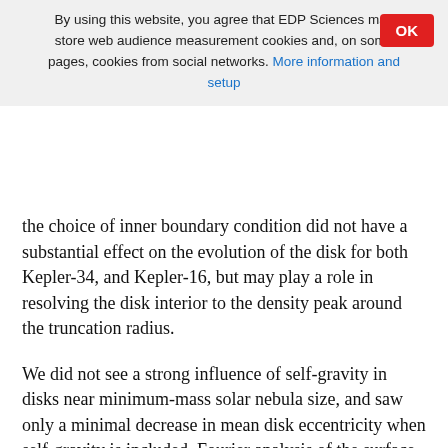By using this website, you agree that EDP Sciences may store web audience measurement cookies and, on some pages, cookies from social networks. More information and setup
the choice of inner boundary condition did not have a substantial effect on the evolution of the disk for both Kepler-34, and Kepler-16, but may play a role in resolving the disk interior to the density peak around the truncation radius.
We did not see a strong influence of self-gravity in disks near minimum-mass solar nebula size, and saw only a minimal decrease in mean disk eccentricity when self-gravity is included. Fourier analysis of the surface density to reveal the presence of modes also suggested that enabling self-gravity, even in disks where the surface density causes the Toomre parameter Q to